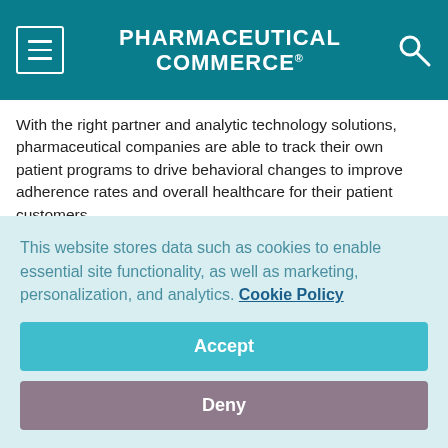PHARMACEUTICAL COMMERCE
With the right partner and analytic technology solutions, pharmaceutical companies are able to track their own patient programs to drive behavioral changes to improve adherence rates and overall healthcare for their patient customers.
It's for this reason that many companies and their partners develop customized programs through which they engage patients in multichannel conversations that not only improve their personal healthcare knowledge, but also tend to empower them, resulting in
This website stores data such as cookies to enable essential site functionality, as well as marketing, personalization, and analytics. Cookie Policy
Accept
Deny